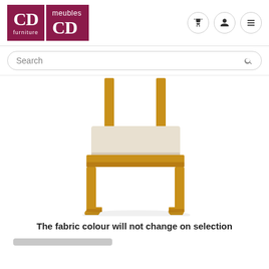[Figure (logo): CD Furniture / meubles CD logo in dark red/maroon squares with white text]
[Figure (infographic): Navigation icons: shopping cart, user profile, hamburger menu]
Search
[Figure (photo): A wooden chair with beige upholstered seat and sled base frame in natural wood color]
The fabric colour will not change on selection